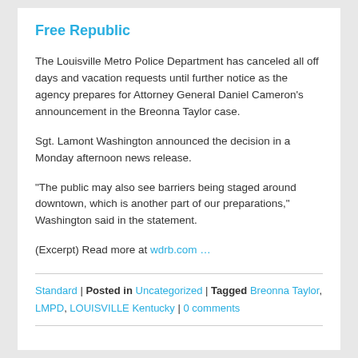Free Republic
The Louisville Metro Police Department has canceled all off days and vacation requests until further notice as the agency prepares for Attorney General Daniel Cameron's announcement in the Breonna Taylor case.
Sgt. Lamont Washington announced the decision in a Monday afternoon news release.
“The public may also see barriers being staged around downtown, which is another part of our preparations,” Washington said in the statement.
(Excerpt) Read more at wdrb.com …
Standard | Posted in Uncategorized | Tagged Breonna Taylor, LMPD, LOUISVILLE Kentucky | 0 comments